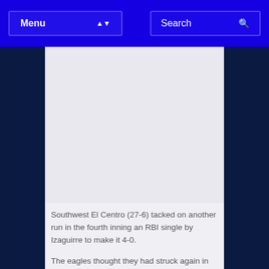Menu  Search
[Figure (other): Advertisement or image placeholder area within the article content]
Southwest El Centro (27-6) tacked on another run in the fourth inning an RBI single by Izaguirre to make it 4-0.
The eagles thought they had struck again in the bottom of the fifth when they pushed across a couple of runs to make it 7-0 but they had